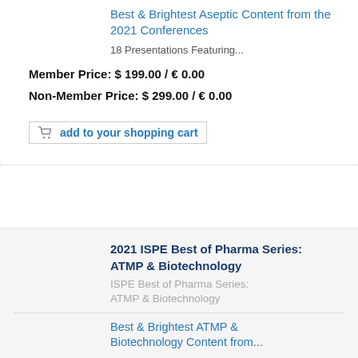Best & Brightest Aseptic Content from the 2021 Conferences
18 Presentations Featuring...
Member Price: $ 199.00 / € 0.00
Non-Member Price: $ 299.00 / € 0.00
add to your shopping cart
2021 ISPE Best of Pharma Series: ATMP & Biotechnology
ISPE Best of Pharma Series: ATMP & Biotechnology
Best & Brightest ATMP & Biotechnology Content from the...